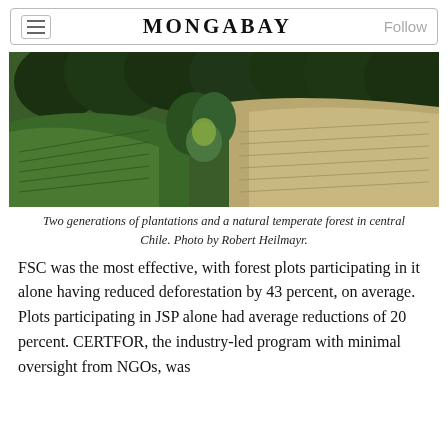MONGABAY
[Figure (photo): Two generations of plantations and a natural temperate forest in central Chile. Photo by Robert Heilmayr.]
Two generations of plantations and a natural temperate forest in central Chile. Photo by Robert Heilmayr.
FSC was the most effective, with forest plots participating in it alone having reduced deforestation by 43 percent, on average. Plots participating in JSP alone had average reductions of 20 percent. CERTFOR, the industry-led program with minimal oversight from NGOs, was